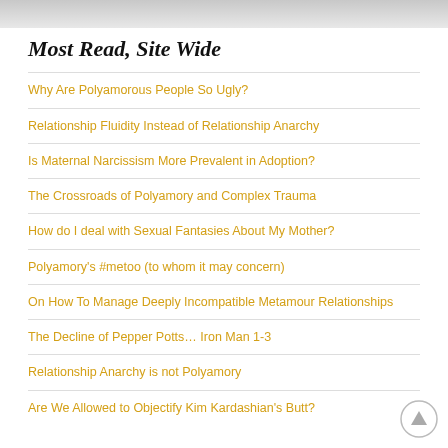Most Read, Site Wide
Why Are Polyamorous People So Ugly?
Relationship Fluidity Instead of Relationship Anarchy
Is Maternal Narcissism More Prevalent in Adoption?
The Crossroads of Polyamory and Complex Trauma
How do I deal with Sexual Fantasies About My Mother?
Polyamory's #metoo (to whom it may concern)
On How To Manage Deeply Incompatible Metamour Relationships
The Decline of Pepper Potts… Iron Man 1-3
Relationship Anarchy is not Polyamory
Are We Allowed to Objectify Kim Kardashian's Butt?